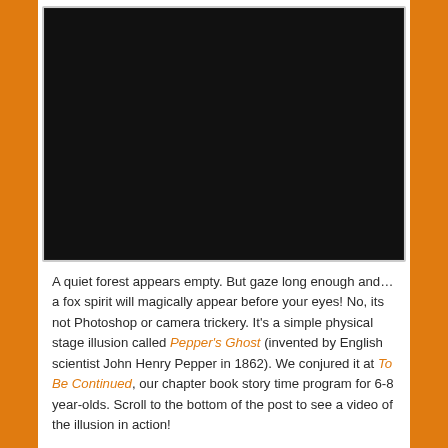[Figure (photo): A diorama viewed through a circular peephole opening. Inside, a colorful scene shows two bare-branched trees in front of a painted forest backdrop with green foliage and pink/blue background. A translucent ghost-like white fox spirit figure is visible between the trees, standing on green grass. The image is framed in a dark vignette circle, creating the Pepper's Ghost illusion effect.]
A quiet forest appears empty. But gaze long enough and…a fox spirit will magically appear before your eyes! No, its not Photoshop or camera trickery. It's a simple physical stage illusion called Pepper's Ghost (invented by English scientist John Henry Pepper in 1862). We conjured it at To Be Continued, our chapter book story time program for 6-8 year-olds. Scroll to the bottom of the post to see a video of the illusion in action!